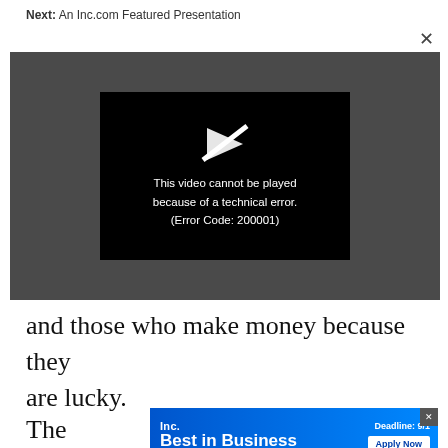Next: An Inc.com Featured Presentation
[Figure (screenshot): Video player showing error message: 'This video cannot be played because of a technical error. (Error Code: 200001)' on a dark gray background with a black inner box and a play/cursor icon above the text.]
and those who make money because they are lucky.
[Figure (other): Inc. Best in Business advertisement banner with blue gradient background. Shows 'Inc.' logo, 'Best in Business' text, 'Deadline: 9/1' and 'Apply Now' button.]